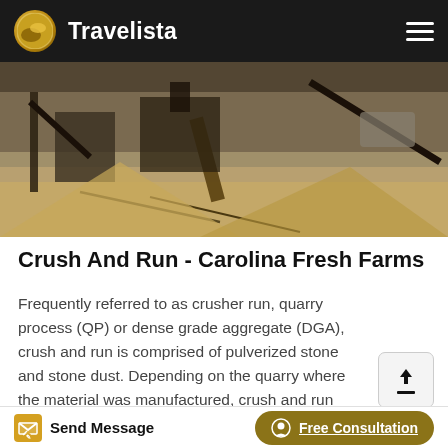Travelista
[Figure (photo): Outdoor quarry/mining site with machinery, conveyor belts, and crushed stone piles]
Crush And Run - Carolina Fresh Farms
Frequently referred to as crusher run, quarry process (QP) or dense grade aggregate (DGA), crush and run is comprised of pulverized stone and stone dust. Depending on the quarry where the material was manufactured, crush and run could be made up of …
[Figure (photo): Blue sky with structural metal framework, partial view at bottom of page]
Send Message   Free Consultation